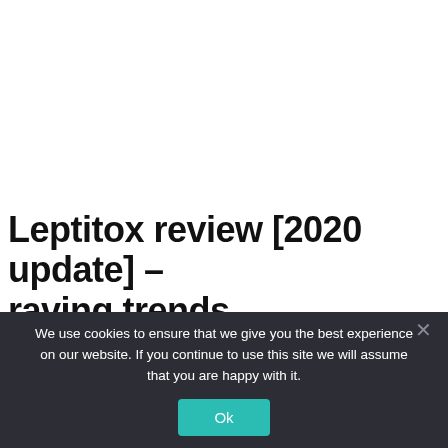Leptitox review [2020 update] – raving trends
We use cookies to ensure that we give you the best experience on our website. If you continue to use this site we will assume that you are happy with it.
Ok